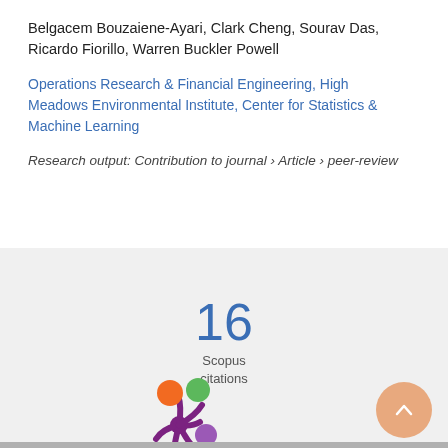Belgacem Bouzaiene-Ayari, Clark Cheng, Sourav Das, Ricardo Fiorillo, Warren Buckler Powell
Operations Research & Financial Engineering, High Meadows Environmental Institute, Center for Statistics & Machine Learning
Research output: Contribution to journal › Article › peer-review
[Figure (infographic): Scopus citations badge showing the number 16 in blue with 'Scopus citations' label below]
[Figure (logo): Altmetric donut logo — a colorful splash/flower shape with orange, green, and purple circles on a purple body]